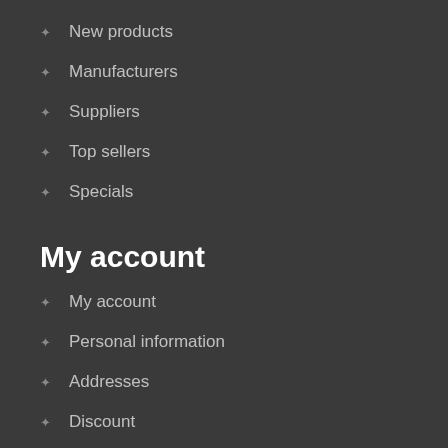New products
Manufacturers
Suppliers
Top sellers
Specials
My account
My account
Personal information
Addresses
Discount
Order history